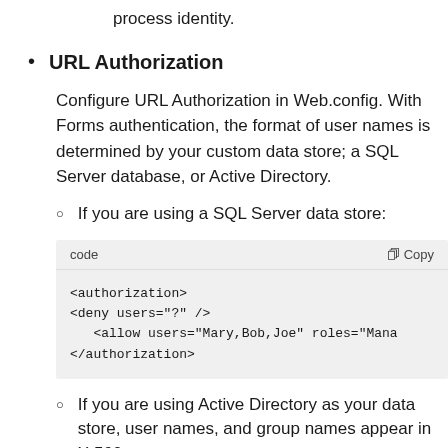process identity.
URL Authorization
Configure URL Authorization in Web.config. With Forms authentication, the format of user names is determined by your custom data store; a SQL Server database, or Active Directory.
If you are using a SQL Server data store:
<authorization>
<deny users="?" />
   <allow users="Mary,Bob,Joe" roles="Mana
</authorization>
If you are using Active Directory as your data store, user names, and group names appear in X.500